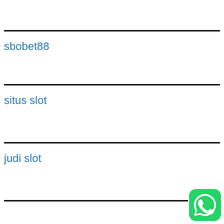sbobet88
situs slot
judi slot
[Figure (logo): WhatsApp logo icon — green rounded square with white phone handset/chat bubble icon]